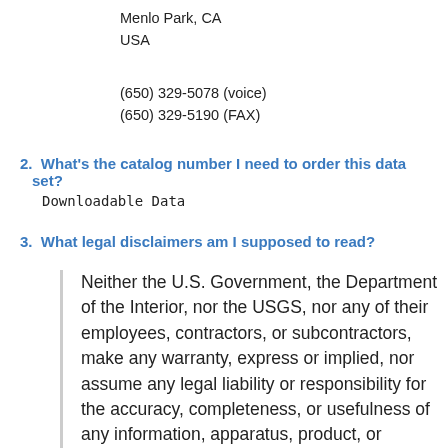Menlo Park, CA
USA
(650) 329-5078 (voice)
(650) 329-5190 (FAX)
2. What's the catalog number I need to order this data set?
Downloadable Data
3. What legal disclaimers am I supposed to read?
Neither the U.S. Government, the Department of the Interior, nor the USGS, nor any of their employees, contractors, or subcontractors, make any warranty, express or implied, nor assume any legal liability or responsibility for the accuracy, completeness, or usefulness of any information, apparatus, product, or process disclosed, nor represent that its use would not infringe on privately owned